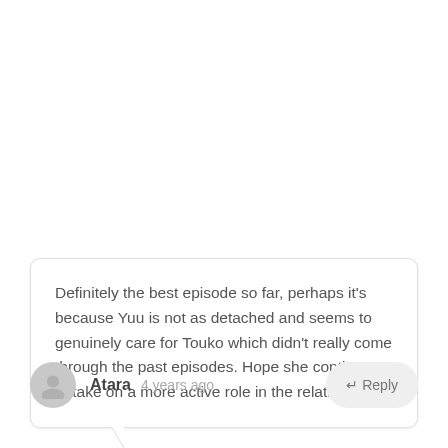Definitely the best episode so far, perhaps it's because Yuu is not as detached and seems to genuinely care for Touko which didn't really come through the past episodes. Hope she continues to take on a more active role in the relationship.
Atara  4 years ago